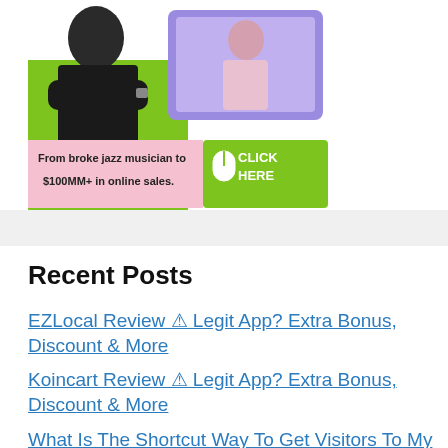[Figure (illustration): Promotional banner showing a man with crossed arms on left side and a laptop/tablet device on right side. Text reads 'From broke jazz musician to $100MM+ in online sales.' with a green 'CLICK HERE' button with mouse icon.]
Recent Posts
EZLocal Review ⚠ Legit App? Extra Bonus, Discount & More
Koincart Review ⚠ Legit App? Extra Bonus, Discount & More
What Is The Shortcut Way To Get Visitors To My Blog?
Crypto Kit Review ⚠ Legit App? Extra Bonus,